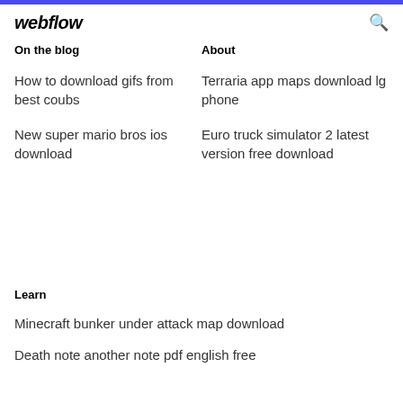webflow
On the blog
About
How to download gifs from best coubs
Terraria app maps download lg phone
New super mario bros ios download
Euro truck simulator 2 latest version free download
Learn
Minecraft bunker under attack map download
Death note another note pdf english free